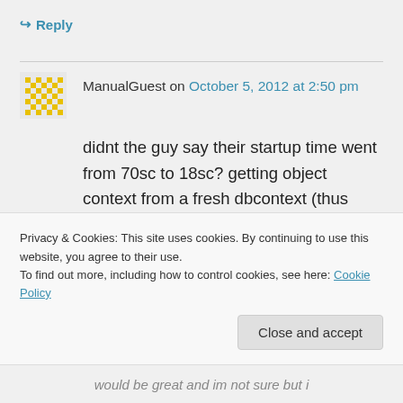↪ Reply
ManualGuest on October 5, 2012 at 2:50 pm
didnt the guy say their startup time went from 70sc to 18sc? getting object context from a fresh dbcontext (thus forcing to generate metadataworkspace) blocks the
Privacy & Cookies: This site uses cookies. By continuing to use this website, you agree to their use.
To find out more, including how to control cookies, see here: Cookie Policy
Close and accept
would be great and im not sure but i